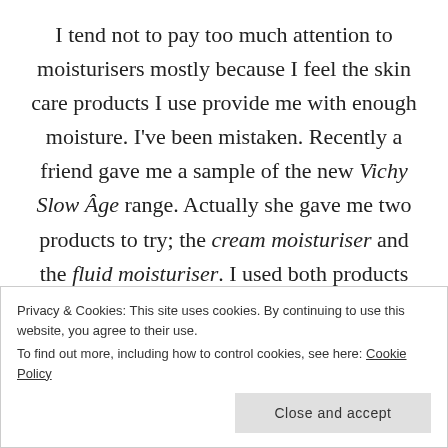I tend not to pay too much attention to moisturisers mostly because I feel the skin care products I use provide me with enough moisture. I've been mistaken. Recently a friend gave me a sample of the new Vichy Slow Âge range. Actually she gave me two products to try; the cream moisturiser and the fluid moisturiser. I used both products and couldn't tell the difference between them. But either way, I did notice a huge difference in my skin. Using the moisturisers comes to skin care but I can't think of a better way to
Privacy & Cookies: This site uses cookies. By continuing to use this website, you agree to their use. To find out more, including how to control cookies, see here: Cookie Policy
Close and accept